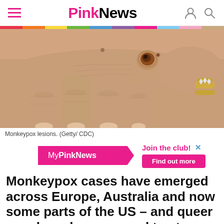PinkNews
[Figure (photo): Close-up photograph of a human hand showing monkeypox lesions — a dark scabbed pustule visible on the back of the hand near the thumb area, with a diamond ring visible on another finger]
Monkeypox lesions. (Getty/ CDC)
[Figure (other): MyPinkNews advertisement banner with pink badge and 'Join the club!' text and 'Find out more' button]
Monkeypox cases have emerged across Europe, Australia and now some parts of the US – and queer men have been warned to stay "vigilant"